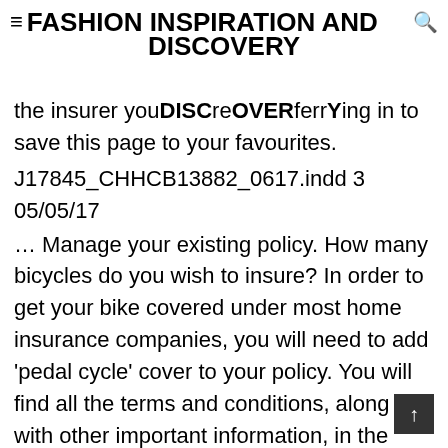≡ FASHION INSPIRATION AND DISCOVERY
the insurer you're referring to. Log in to save this page to your favourites.
J17845_CHHCB13882_0617.indd 3 05/05/17
… Manage your existing policy. How many bicycles do you wish to insure? In order to get your bike covered under most home insurance companies, you will need to add 'pedal cycle' cover to your policy. You will find all the terms and conditions, along with other important information, in the policy documents. At cycleGuard, we've been protecting cyclists and triathletes across the UK for over 20 years